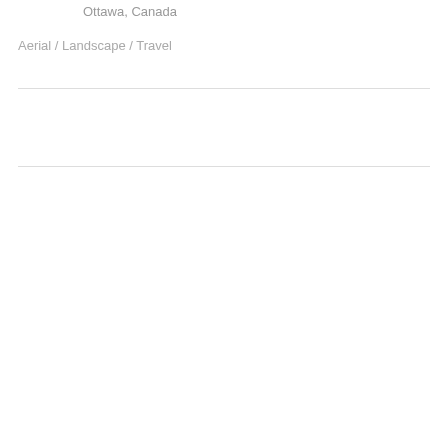Ottawa, Canada
Aerial / Landscape / Travel